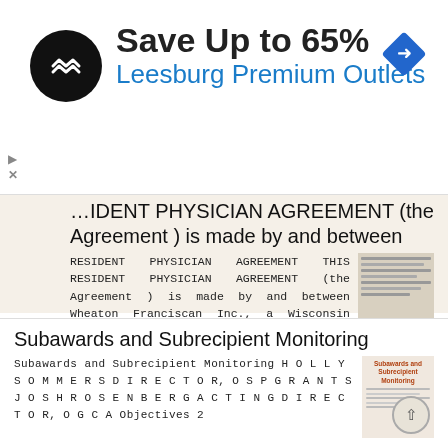[Figure (screenshot): Advertisement banner: Save Up to 65% at Leesburg Premium Outlets with logo and navigation icon]
RESIDENT PHYSICIAN AGREEMENT (the Agreement ) is made by and between
RESIDENT PHYSICIAN AGREEMENT THIS RESIDENT PHYSICIAN AGREEMENT (the Agreement ) is made by and between Wheaton Franciscan Inc., a Wisconsin nonprofit corporation ( Hospital ) and ( Resident ). In consideration
More information →
Subawards and Subrecipient Monitoring
Subawards and Subrecipient Monitoring H O L L Y S O M M E R S D I R E C T O R, O S P G R A N T S J O S H R O S E N B E R G A C T I N G D I R E C T O R, O G C A Objectives 2